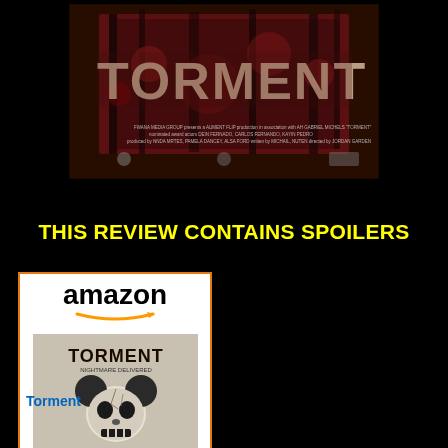[Figure (photo): Movie poster for TORMENT - dark horror film poster with large distressed text 'TORMENT' over a dark reddish-brown background with credits below]
THIS REVIEW CONTAINS SPOILERS
[Figure (photo): Amazon product listing widget showing the movie Torment on DVD/Blu-ray, with Amazon logo and orange smile, cover art showing a skull with Mickey Mouse ears mask]
Torment